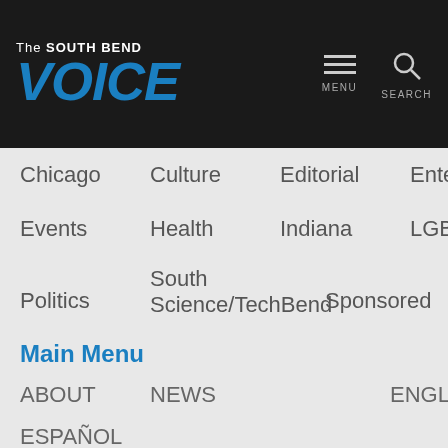The South Bend VOICE
Chicago
Culture
Editorial
Entertainment
Events
Health
Indiana
LGBT
Politics
Science/Tech
South Bend
Sponsored
Sports
Video
Main Menu
ABOUT
NEWS
ENGLISH
ESPAÑOL